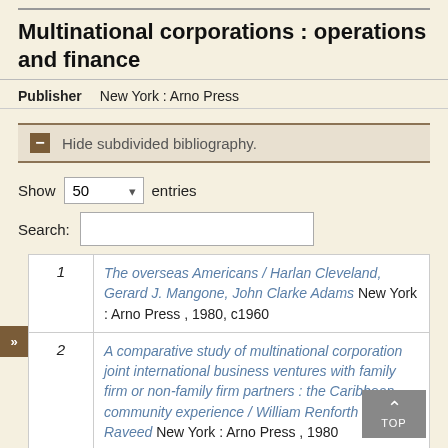Multinational corporations : operations and finance
Publisher   New York : Arno Press
Hide subdivided bibliography.
Show 50 entries
Search:
1  The overseas Americans / Harlan Cleveland, Gerard J. Mangone, John Clarke Adams New York : Arno Press , 1980, c1960
2  A comparative study of multinational corporation joint international business ventures with family firm or non-family firm partners : the Caribbean community experience / William Renforth and Sion Raveed New York : Arno Press , 1980